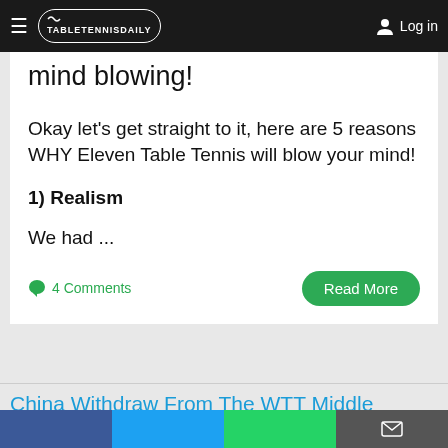TableTennisDaily | Log in
mind blowing!
Okay let's get straight to it, here are 5 reasons WHY Eleven Table Tennis will blow your mind!
1) Realism
We had ...
4 Comments
Read More
China Withdraw From The WTT Middle